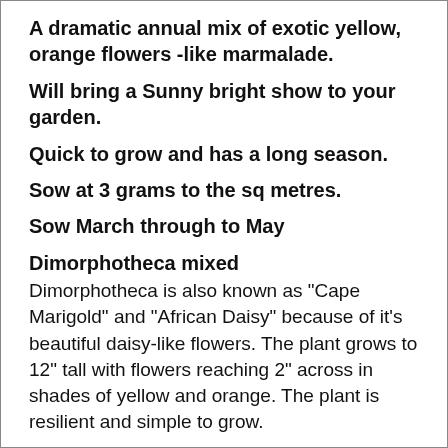A dramatic annual mix of exotic yellow, orange flowers -like marmalade.
Will bring a Sunny bright show to your garden.
Quick to grow and has a long season.
Sow at 3 grams to the sq metres.
Sow March through to May
Dimorphotheca mixed
Dimorphotheca is also known as "Cape Marigold" and "African Daisy" because of it's beautiful daisy-like flowers. The plant grows to 12" tall with flowers reaching 2" across in shades of yellow and orange. The plant is resilient and simple to grow.
Corepsis tinctoria
Growing quickly, Coreopsis tinctoria plants attain heights of 12 to 40 inches (30–100 cm). Flowers are brilliant yellow with maroon or brown centers of various sizes. Flowering typically occurs in mid-summer